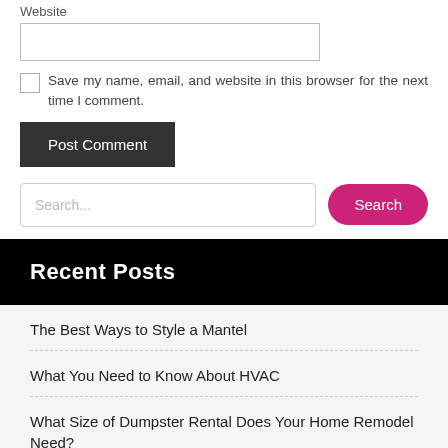Website
Save my name, email, and website in this browser for the next time I comment.
Post Comment
Search...
Recent Posts
The Best Ways to Style a Mantel
What You Need to Know About HVAC
What Size of Dumpster Rental Does Your Home Remodel Need?